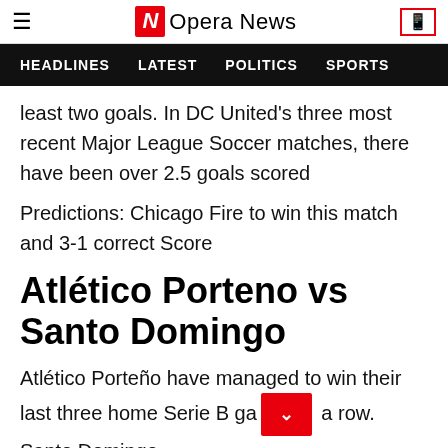Opera News
HEADLINES  LATEST  POLITICS  SPORTS
least two goals. In DC United's three most recent Major League Soccer matches, there have been over 2.5 goals scored
Predictions: Chicago Fire to win this match and 3-1 correct Score
Atlético Porteno vs Santo Domingo
Atlético Porteño have managed to win their last three home Serie B ga... a row. Santo Domingo